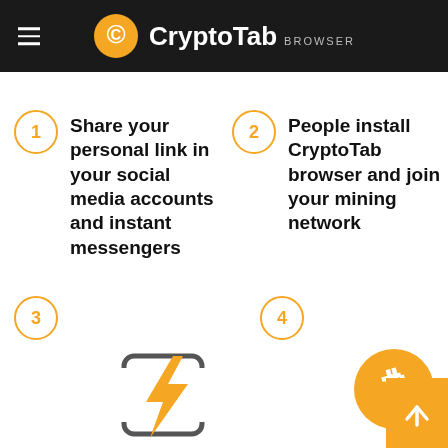CryptoTab BROWSER
1 Share your personal link in your social media accounts and instant messengers
2 People install CryptoTab browser and join your mining network
3
4
[Figure (illustration): Lightning bolt icon inside a rounded square bracket frame]
[Figure (illustration): Bitcoin (BTC) orange coin logo]
[Figure (illustration): Orange scroll-to-top button with upward arrow]